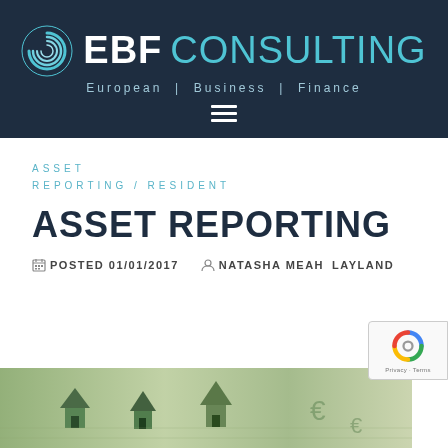EBF CONSULTING | European | Business | Finance
ASSET REPORTING / RESIDENT
ASSET REPORTING
POSTED 01/01/2017   NATASHA MEAH LAYLAND
[Figure (photo): Photo of miniature houses on currency/money, illustrating asset reporting theme]